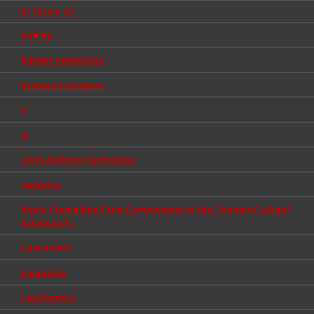In Terms Of
Infinity
Integer sequences
Irrational numbers
π
φ
John Atkinson Grimshaw
Juggling
Keyly Committed Core Components of the Counter-Cultural Community
Lancashire
Language
Lepidoptera
LGBTQ+ Community Issues